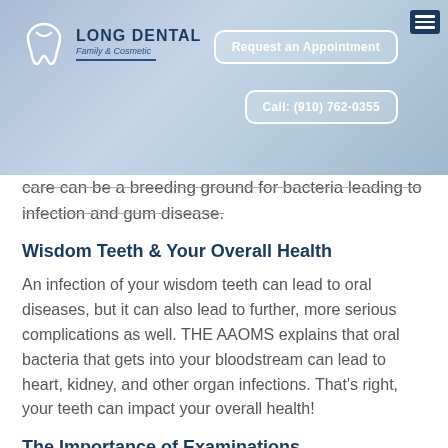[Figure (screenshot): Long Dental Family & Cosmetic website header with logo, Request an Appointment button, Call: (910) 762-0355 button, and hamburger menu on a blue sky background]
care can be a breeding ground for bacteria leading to infection and gum disease.
Wisdom Teeth & Your Overall Health
An infection of your wisdom teeth can lead to oral diseases, but it can also lead to further, more serious complications as well. THE AAOMS explains that oral bacteria that gets into your bloodstream can lead to heart, kidney, and other organ infections. That's right, your teeth can impact your overall health!
The Importance of Examinations
You might not notice any pain or discomfort around your wisdom teeth, but that does not necessarily mean they are healthy. Even wisdom teeth that fit properly